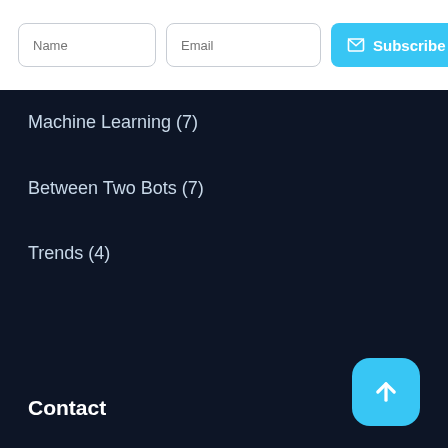[Figure (screenshot): Newsletter subscription form with Name input, Email input, and Subscribe button with mail icon on white background]
Machine Learning (7)
Between Two Bots (7)
Trends (4)
Contact
[Figure (other): Scroll-to-top button with upward arrow on cyan rounded square background]